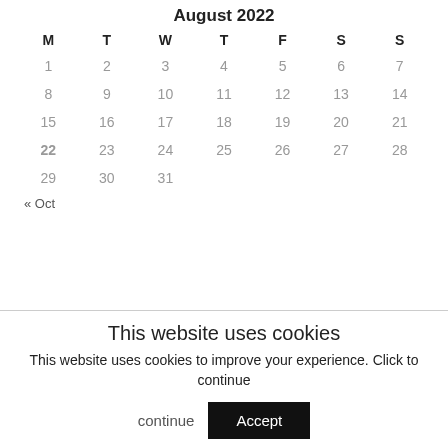August 2022
| M | T | W | T | F | S | S |
| --- | --- | --- | --- | --- | --- | --- |
| 1 | 2 | 3 | 4 | 5 | 6 | 7 |
| 8 | 9 | 10 | 11 | 12 | 13 | 14 |
| 15 | 16 | 17 | 18 | 19 | 20 | 21 |
| 22 | 23 | 24 | 25 | 26 | 27 | 28 |
| 29 | 30 | 31 |  |  |  |  |
« Oct
This website uses cookies
This website uses cookies to improve your experience. Click to continue
Accept